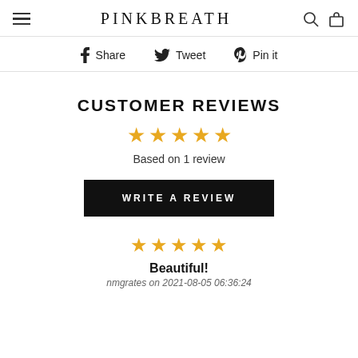PINKBREATH
Share   Tweet   Pin it
CUSTOMER REVIEWS
★★★★★ Based on 1 review
WRITE A REVIEW
★★★★★ Beautiful! nmgrates on 2021-08-05 06:36:24